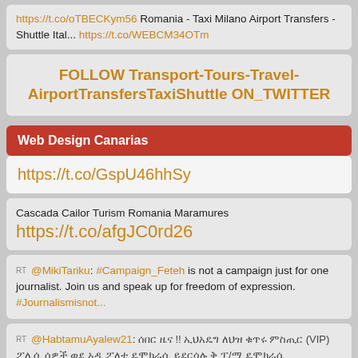https://t.co/oTBECKym56 Romania - Taxi Milano Airport Transfers - Shuttle Ital... https://t.co/WEBCM34OTm
FOLLOW Transport-Tours-Travel-AirportTransfersTaxiShuttle ON_TWITTER
Web Design Canarias
https://t.co/GspU46hhSy
Cascada Cailor Turism Romania Maramures https://t.co/afgJC0rd26
RT @MikiTariku: #Campaign_Feteh is not a campaign just for one journalist. Join us and speak up for freedom of expression. #Journalismisnot...
RT @HabtamuAyalew21: [Amharic text] (VIP) [Amharic text] https://t.co/EbIJMnG...